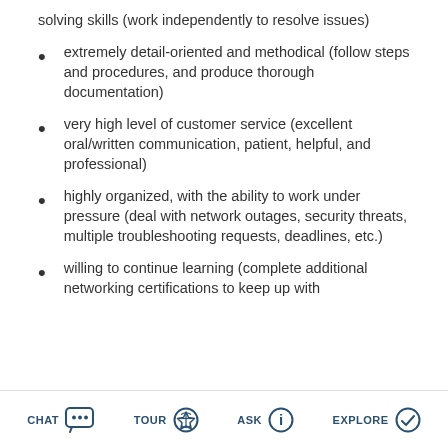solving skills (work independently to resolve issues)
extremely detail-oriented and methodical (follow steps and procedures, and produce thorough documentation)
very high level of customer service (excellent oral/written communication, patient, helpful, and professional)
highly organized, with the ability to work under pressure (deal with network outages, security threats, multiple troubleshooting requests, deadlines, etc.)
willing to continue learning (complete additional networking certifications to keep up with
CHAT  TOUR  ASK  EXPLORE